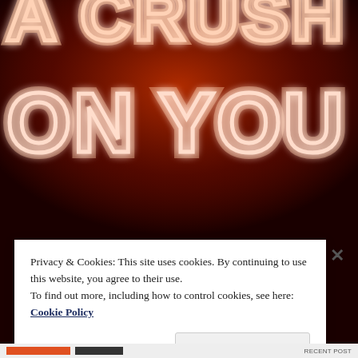[Figure (photo): Neon sign glowing orange-red on a dark background, reading 'A CRUSH ON YOU']
Privacy & Cookies: This site uses cookies. By continuing to use this website, you agree to their use.
To find out more, including how to control cookies, see here:
Cookie Policy
Close and accept